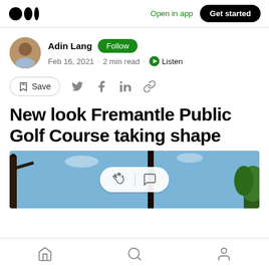Medium logo | Open in app | Get started
Adin Lang · Follow · Feb 16, 2021 · 2 min read · Listen
Save (social share icons)
New look Fremantle Public Golf Course taking shape
[Figure (photo): Outdoor photo showing trees against a blue sky, with a clap and comment interaction bar overlay]
Home | Search | Profile (bottom navigation bar)